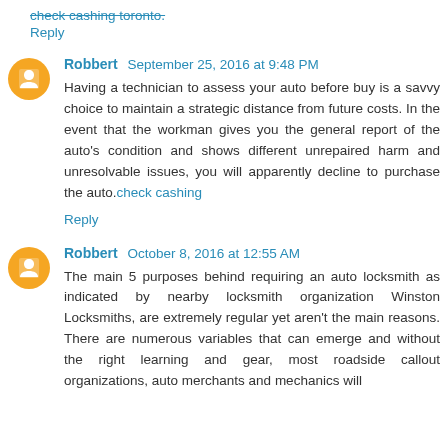check cashing toronto.
Reply
Robbert  September 25, 2016 at 9:48 PM
Having a technician to assess your auto before buy is a savvy choice to maintain a strategic distance from future costs. In the event that the workman gives you the general report of the auto's condition and shows different unrepaired harm and unresolvable issues, you will apparently decline to purchase the auto.check cashing
Reply
Robbert  October 8, 2016 at 12:55 AM
The main 5 purposes behind requiring an auto locksmith as indicated by nearby locksmith organization Winston Locksmiths, are extremely regular yet aren't the main reasons. There are numerous variables that can emerge and without the right learning and gear, most roadside callout organizations, auto merchants and mechanics will